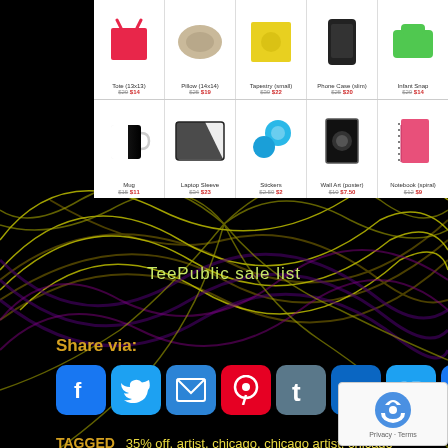[Figure (other): Product grid showing merchandise items: Tote (13x13) $14, Pillow (14x14) $19, Tapestry (small) $22, Phone Case (slim) $20, Infant Snap $14, Mug $11, Laptop Sleeve $23, Stickers $2, Wall Art (poster) $7.50, Notebook (spiral) $9]
TeePublic sale list
Share via:
[Figure (infographic): Social share buttons: Facebook, Twitter, Email, Pinterest, Tumblr, LinkedIn, Copy Link, More]
TAGGED   35% off, artist, chicago, chicago artist, chicago designer, dark chocolate ice cream, designer, digital art, food digital illustration, food fight, food fight art, food fight cheese, food fight potato, food fight tomato, foodie digital art, funny food, graphic food art, hot dog art, ice cream, ice cream sprinkles, original digital art, original photography
[Figure (other): reCAPTCHA verification widget overlay in bottom right corner]